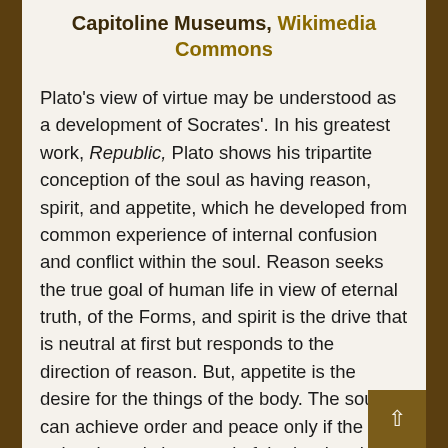Capitoline Museums, Wikimedia Commons
Plato's view of virtue may be understood as a development of Socrates'. In his greatest work, Republic, Plato shows his tripartite conception of the soul as having reason, spirit, and appetite, which he developed from common experience of internal confusion and conflict within the soul. Reason seeks the true goal of human life in view of eternal truth, of the Forms, and spirit is the drive that is neutral at first but responds to the direction of reason. But, appetite is the desire for the things of the body. The soul can achieve order and peace only if the rational part is in control of the irrational parts of spirit and appetite. But, after the soul enters the body, the body stimulates the irrational parts to defeat the rulership of reason. Hence